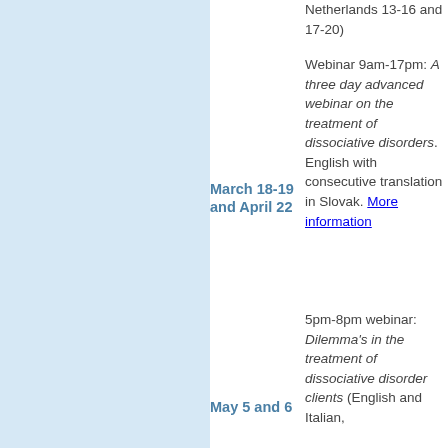Netherlands 13-16 and 17-20)
Webinar 9am-17pm: A three day advanced webinar on the treatment of dissociative disorders. English with consecutive translation in Slovak. More information
March 18-19 and April 22
5pm-8pm webinar: Dilemma's in the treatment of dissociative disorder clients (English and Italian,
May 5 and 6